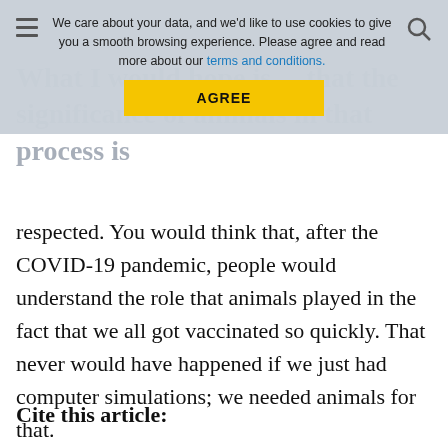We care about your data, and we'd like to use cookies to give you a smooth browsing experience. Please agree and read more about our terms and conditions. AGREE
What I would hope is ... that the significance of animals in that process is respected. You would think that, after the COVID-19 pandemic, people would understand the role that animals played in the fact that we all got vaccinated so quickly. That never would have happened if we just had computer simulations; we needed animals for that.
Cite this article: